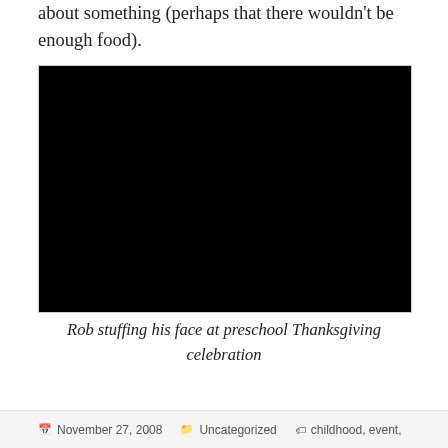about something (perhaps that there wouldn't be enough food).
[Figure (photo): Children sitting at a table during a preschool Thanksgiving celebration. A boy on the left leans over a yellow bowl, a girl in the center wears a white chef's hat, and another child is visible on the right. The table has food, cups, and a basket.]
Rob stuffing his face at preschool Thanksgiving celebration
November 27, 2008   Uncategorized   childhood, event,